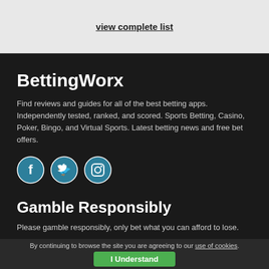view complete list
BettingWorx
Find reviews and guides for all of the best betting apps. Independently tested, ranked, and scored. Sports Betting, Casino, Poker, Bingo, and Virtual Sports. Latest betting news and free bet offers.
[Figure (illustration): Three social media icons: Facebook, Twitter, and Instagram, shown as white icons on teal circular backgrounds with white borders]
Gamble Responsibly
Please gamble responsibly, only bet what you can afford to lose.
By continuing to browse the site you are agreeing to our use of cookies.
I Understand